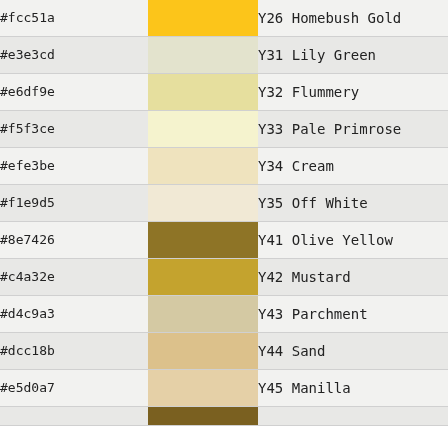| Hex | Swatch | Code Name |
| --- | --- | --- |
| #fcc51a | (swatch) | Y26 Homebush Gold |
| #e3e3cd | (swatch) | Y31 Lily Green |
| #e6df9e | (swatch) | Y32 Flummery |
| #f5f3ce | (swatch) | Y33 Pale Primrose |
| #efe3be | (swatch) | Y34 Cream |
| #f1e9d5 | (swatch) | Y35 Off White |
| #8e7426 | (swatch) | Y41 Olive Yellow |
| #c4a32e | (swatch) | Y42 Mustard |
| #d4c9a3 | (swatch) | Y43 Parchment |
| #dcc18b | (swatch) | Y44 Sand |
| #e5d0a7 | (swatch) | Y45 Manilla |
| #... | (swatch) |  |